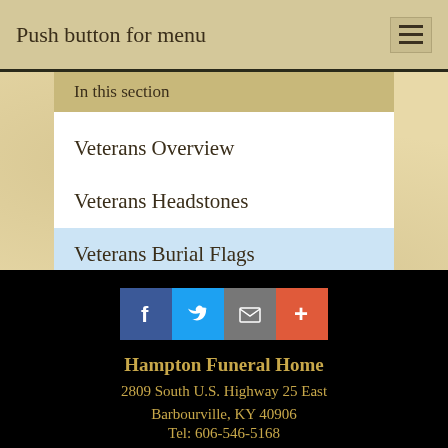Push button for menu
In this section
Veterans Overview
Veterans Headstones
Veterans Burial Flags
[Figure (infographic): Social media icons: Facebook (blue), Twitter (light blue), Mail (gray), Plus/More (red-orange)]
Hampton Funeral Home
2809 South U.S. Highway 25 East
Barbourville, KY 40906
Tel: 606-546-5168